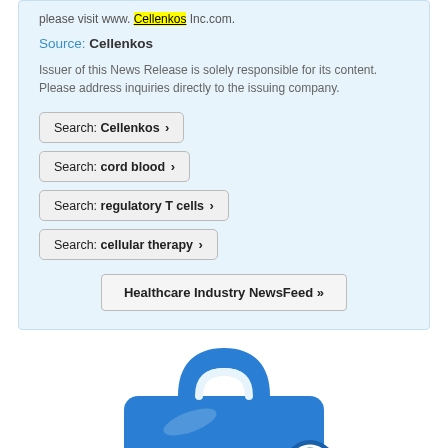please visit www. Cellenkos Inc.com.
Source: Cellenkos
Issuer of this News Release is solely responsible for its content. Please address inquiries directly to the issuing company.
Search: Cellenkos >
Search: cord blood >
Search: regulatory T cells >
Search: cellular therapy >
Healthcare Industry NewsFeed >>
[Figure (illustration): Blue medical briefcase / first-aid kit icon with a circular symbol, rendered in 3D style]